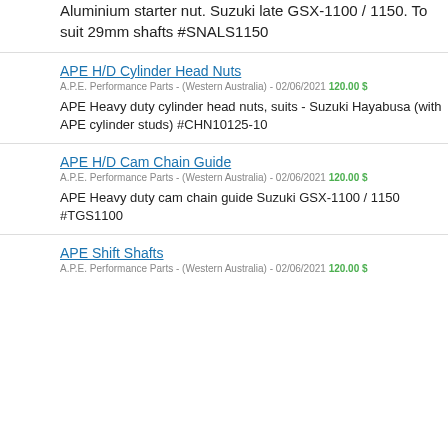Aluminium starter nut. Suzuki late GSX-1100 / 1150. To suit 29mm shafts #SNALS1150
APE H/D Cylinder Head Nuts
A.P.E. Performance Parts - (Western Australia) - 02/06/2021 120.00 $
APE Heavy duty cylinder head nuts, suits - Suzuki Hayabusa (with APE cylinder studs) #CHN10125-10
APE H/D Cam Chain Guide
A.P.E. Performance Parts - (Western Australia) - 02/06/2021 120.00 $
APE Heavy duty cam chain guide Suzuki GSX-1100 / 1150 #TGS1100
APE Shift Shafts
A.P.E. Performance Parts - (Western Australia) - 02/06/2021 120.00 $